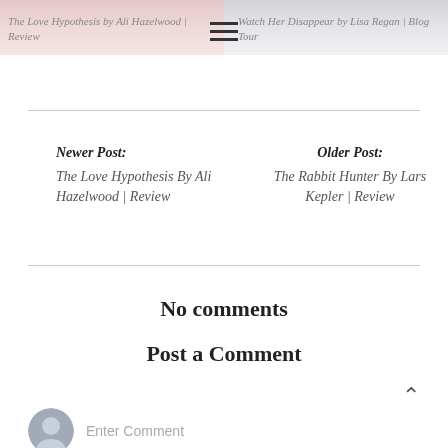[Figure (photo): Two faded book cover images side by side at top of page]
The Love Hypothesis by Ali Hazelwood | Review
Watch Her Disappear by Lisa Regan | Blog Tour
Newer Post: The Love Hypothesis By Ali Hazelwood | Review
Older Post: The Rabbit Hunter By Lars Kepler | Review
No comments
Post a Comment
Enter Comment